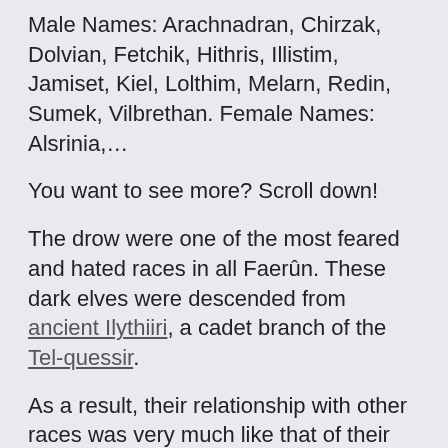Male Names: Arachnadran, Chirzak, Dolvian, Fetchik, Hithris, Illistim, Jamiset, Kiel, Lolthim, Melarn, Redin, Sumek, Vilbrethan. Female Names: Alsrinia,…
You want to see more? Scroll down!
The drow were one of the most feared and hated races in all Faerûn. These dark elves were descended from ancient Ilythiiri, a cadet branch of the Tel-quessir.
As a result, their relationship with other races was very much like that of their elven kin.
They are one of the most iconic races from Dungeons and Dragons. As dark elves, they have kept a firm foothold in pop culture as villainous